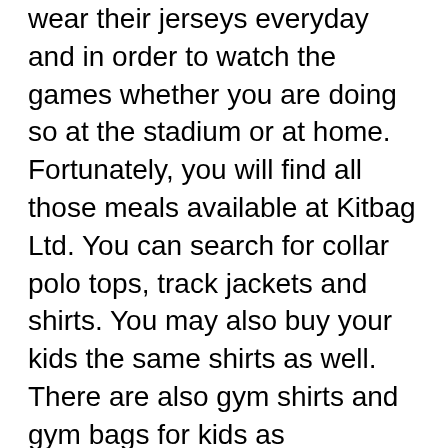wear their jerseys everyday and in order to watch the games whether you are doing so at the stadium or at home. Fortunately, you will find all those meals available at Kitbag Ltd. You can search for collar polo tops, track jackets and shirts. You may also buy your kids the same shirts as well. There are also gym shirts and gym bags for kids as thoroughly Football news .
But global visibility also happens through unexpected groups. Mid 1999, the head of our subsidiary, Satyam Infoway requested me to take care of the PR for their ADS listing on Otc pink sheets. This gave me an additional opportunity perform at a new level as well to together with the big guns all of the financial sector-Merrill Lynch, Citibank,